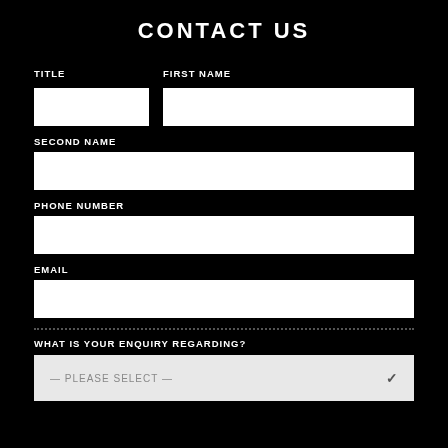CONTACT US
TITLE
FIRST NAME
SECOND NAME
PHONE NUMBER
EMAIL
WHAT IS YOUR ENQUIRY REGARDING?
— PLEASE SELECT —